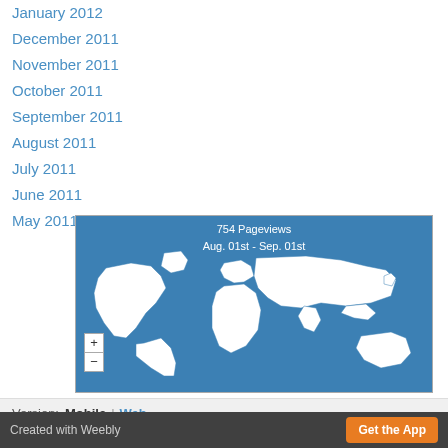January 2012
December 2011
November 2011
October 2011
September 2011
August 2011
July 2011
June 2011
May 2011
[Figure (map): World map showing 754 Pageviews Aug. 01st - Sep. 01st, blue background with white continent outlines, zoom +/- controls]
Version: Mobile | Web
Created with Weebly  Get the App